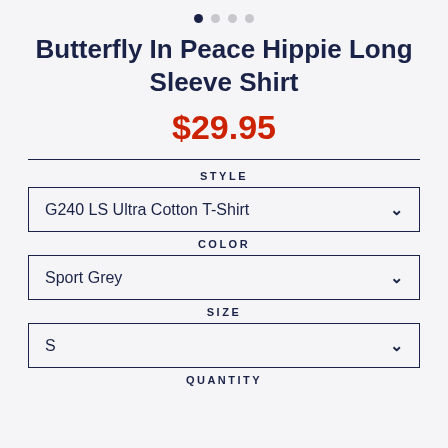Butterfly In Peace Hippie Long Sleeve Shirt
$29.95
STYLE
G240 LS Ultra Cotton T-Shirt
COLOR
Sport Grey
SIZE
S
QUANTITY